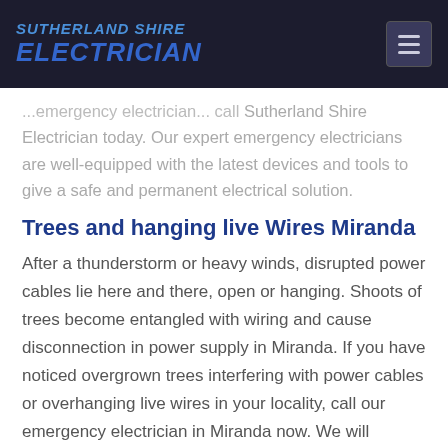SUTHERLAND SHIRE ELECTRICIAN
...emergency electrician... call Sutherland Shire Electrician today. Our expert emergency electricians are well-equipped with the latest devices and tools to give a safe and permanent electrical solution.
Trees and hanging live Wires Miranda
After a thunderstorm or heavy winds, disrupted power cables lie here and there, open or hanging. Shoots of trees become entangled with wiring and cause disconnection in power supply in Miranda. If you have noticed overgrown trees interfering with power cables or overhanging live wires in your locality, call our emergency electrician in Miranda now. We will reroute